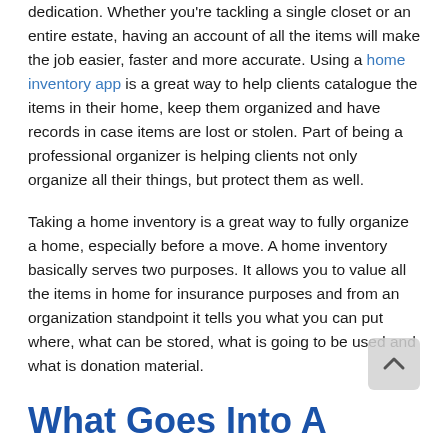dedication. Whether you're tackling a single closet or an entire estate, having an account of all the items will make the job easier, faster and more accurate. Using a home inventory app is a great way to help clients catalogue the items in their home, keep them organized and have records in case items are lost or stolen. Part of being a professional organizer is helping clients not only organize all their things, but protect them as well.
Taking a home inventory is a great way to fully organize a home, especially before a move. A home inventory basically serves two purposes. It allows you to value all the items in home for insurance purposes and from an organization standpoint it tells you what you can put where, what can be stored, what is going to be used and what is donation material.
What Goes Into A Home Inventory?
Even for a professional organizer the idea of taking a complete home inventory can seem like a daunting task. There's a lot of information that goes into a proper home inventory, but the benefits are well worth it. While you can just take pictures or video